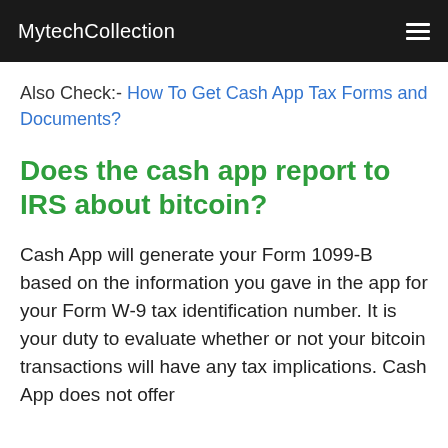MytechCollection
Also Check:- How To Get Cash App Tax Forms and Documents?
Does the cash app report to IRS about bitcoin?
Cash App will generate your Form 1099-B based on the information you gave in the app for your Form W-9 tax identification number. It is your duty to evaluate whether or not your bitcoin transactions will have any tax implications. Cash App does not offer